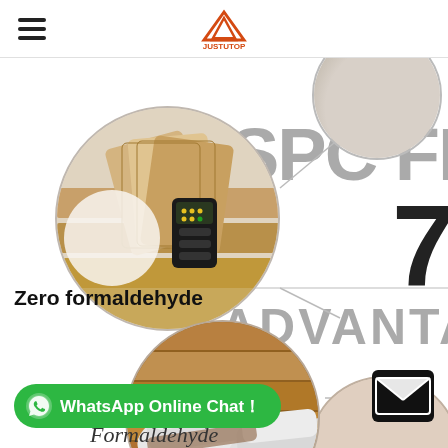JUSTUTOP (logo with hamburger menu)
[Figure (infographic): SPC Flooring product page showing circular images of flooring products with a formaldehyde detector device, sneakers on hardwood floor, and a child sitting on floor. Text reads 'SPC FLO', '7', 'ADVANTA' (partially visible). Label: 'Zero formaldehyde'. WhatsApp Online Chat button and email icon at bottom.]
Zero formaldehyde
SPC FLO
7
ADVANTA
WhatsApp Online Chat！